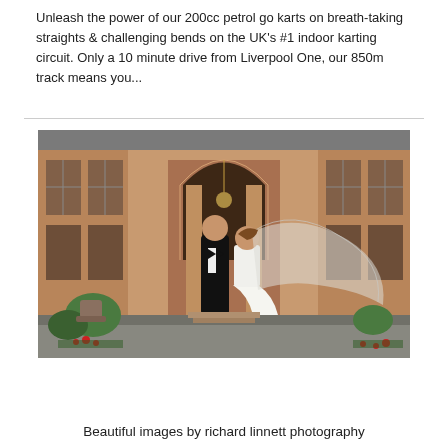Unleash the power of our 200cc petrol go karts on breath-taking straights & challenging bends on the UK's #1 indoor karting circuit. Only a 10 minute drive from Liverpool One, our 850m track means you...
[Figure (photo): Wedding couple standing in front of a grand sandstone building with an ornate arched doorway. The bride wears a white mermaid gown with a long veil billowing in the wind. The groom is in a black tuxedo. Flower beds and stone urns flank the entrance.]
Beautiful images by richard linnett photography